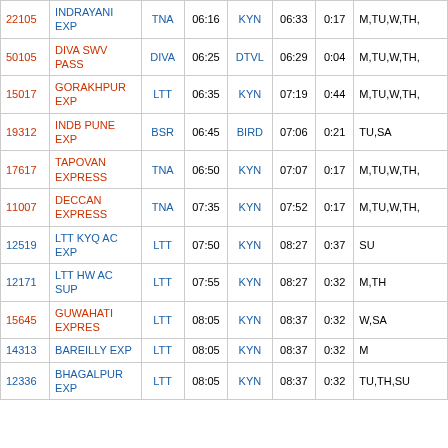| No. | Name | From | Dep | To | Arr | Dur | Days |
| --- | --- | --- | --- | --- | --- | --- | --- |
| 22105 | INDRAYANI EXP | TNA | 06:16 | KYN | 06:33 | 0:17 | M,TU,W,TH, |
| 50105 | DIVA SWV PASS | DIVA | 06:25 | DTVL | 06:29 | 0:04 | M,TU,W,TH, |
| 15017 | GORAKHPUR EXP | LTT | 06:35 | KYN | 07:19 | 0:44 | M,TU,W,TH, |
| 19312 | INDB PUNE EXP | BSR | 06:45 | BIRD | 07:06 | 0:21 | TU,SA |
| 17617 | TAPOVAN EXPRESS | TNA | 06:50 | KYN | 07:07 | 0:17 | M,TU,W,TH, |
| 11007 | DECCAN EXPRESS | TNA | 07:35 | KYN | 07:52 | 0:17 | M,TU,W,TH, |
| 12519 | LTT KYQ AC EXP | LTT | 07:50 | KYN | 08:27 | 0:37 | SU |
| 12171 | LTT HW AC SUP | LTT | 07:55 | KYN | 08:27 | 0:32 | M,TH |
| 15645 | GUWAHATI EXPRES | LTT | 08:05 | KYN | 08:37 | 0:32 | W,SA |
| 14313 | BAREILLY EXP | LTT | 08:05 | KYN | 08:37 | 0:32 | M |
| 12336 | BHAGALPUR EXP | LTT | 08:05 | KYN | 08:37 | 0:32 | TU,TH,SU |